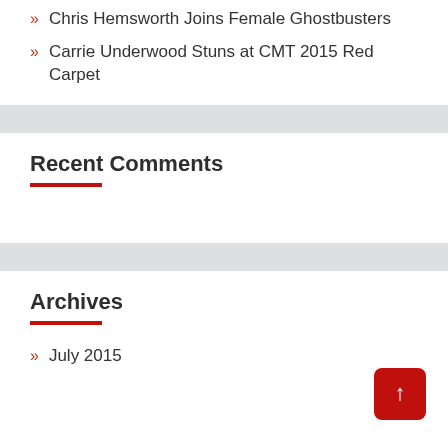Chris Hemsworth Joins Female Ghostbusters
Carrie Underwood Stuns at CMT 2015 Red Carpet
Recent Comments
Archives
July 2015